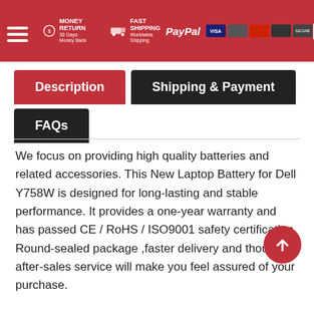MONEY RETURN | FAST SHIPPING | PayPal VISA [cards] SECURE
Description | Shipping & Payment | FAQs
We focus on providing high quality batteries and related accessories. This New Laptop Battery for Dell Y758W is designed for long-lasting and stable performance. It provides a one-year warranty and has passed CE / RoHS / ISO9001 safety certification. Round-sealed package ,faster delivery and thoughtful after-sales service will make you feel assured of your purchase.
| Condition: | Replacement, Brand New |
| Brand: | Dell |